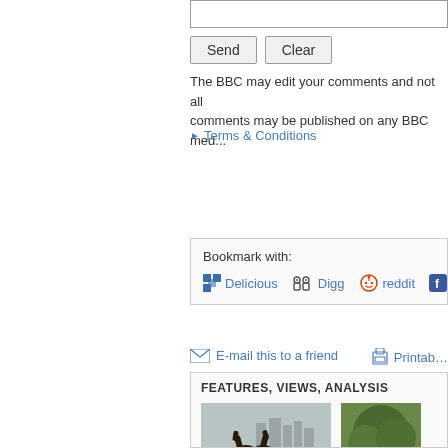[input field]
Send   Clear
The BBC may edit your comments and not all comments may be published on any BBC med...
Terms & Conditions
Bookmark with:
Delicious  Digg  reddit  Faceb...
E-mail this to a friend
Printab...
FEATURES, VIEWS, ANALYSIS
[Figure (photo): Ghost town - sculpture of two rearing horses with city skyline in background]
Ghost town
Has China's housing
[Figure (photo): The guerilla plant - tree with branches]
The guerilla plant
How the world's o...